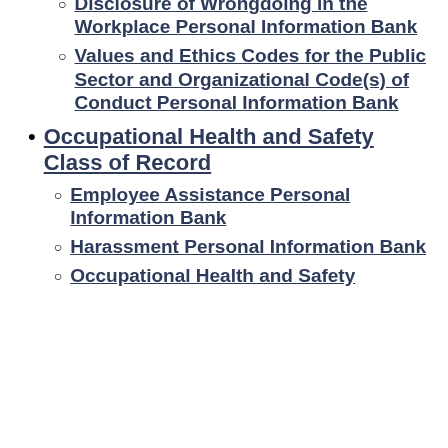Disclosure of Wrongdoing in the Workplace Personal Information Bank
Values and Ethics Codes for the Public Sector and Organizational Code(s) of Conduct Personal Information Bank
Occupational Health and Safety Class of Record
Employee Assistance Personal Information Bank
Harassment Personal Information Bank
Occupational Health and Safety